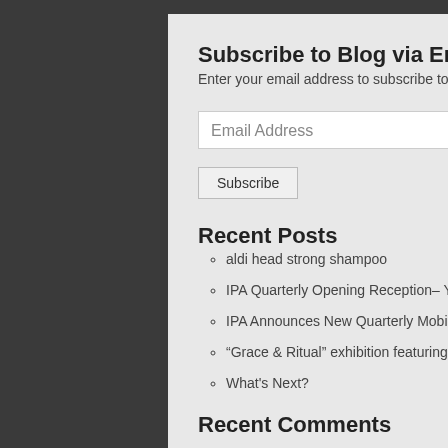Subscribe to Blog via Email
Enter your email address to subscribe to this blog and receive notifications of new posts by email.
Email Address
Subscribe
Recent Posts
aldi head strong shampoo
IPA Quarterly Opening Reception– You're Invited!
IPA Announces New Quarterly Mobile Photography Exhibitions
“Grace & Ritual” exhibition featuring Cindy Patrick
What's Next?
Recent Comments